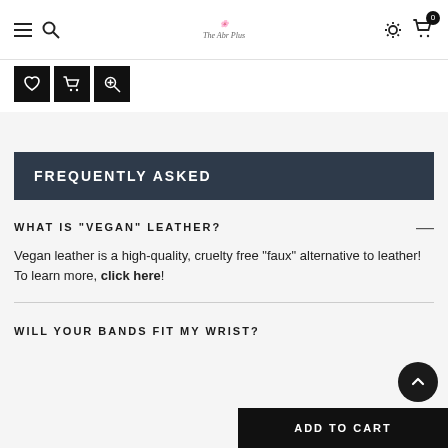Navigation bar with menu, search, logo 'The Abr Plus', settings, and cart (0)
[Figure (screenshot): Three dark icon buttons: heart/wishlist, cart, and zoom/search]
FREQUENTLY ASKED
WHAT IS "VEGAN" LEATHER?
Vegan leather is a high-quality, cruelty free "faux" alternative to leather! To learn more, click here!
WILL YOUR BANDS FIT MY WRIST?
ADD TO CART